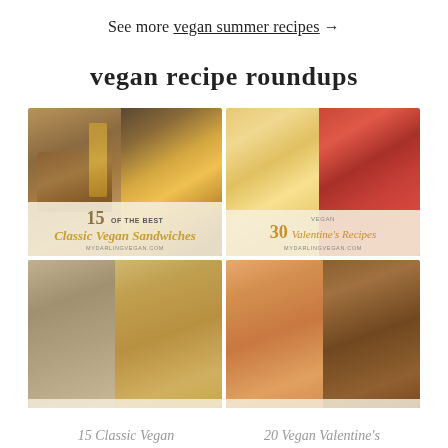See more vegan summer recipes →
vegan recipe roundups
[Figure (photo): Collage card: 15 of the Best Classic Vegan Sandwiches, mydarlingvegan.com — photos of toast with fries and a burger with cheese]
[Figure (photo): Collage card: Vegan 30 Valentine's Recipes, mydarlingvegan.com — photos of strawberry pastries and tomato dish]
[Figure (photo): Collage card bottom left showing cozy pasta/noodle dishes]
[Figure (photo): Collage card bottom right showing pasta and chocolate dessert dishes]
15 Classic Vegan
20 Vegan Valentine's